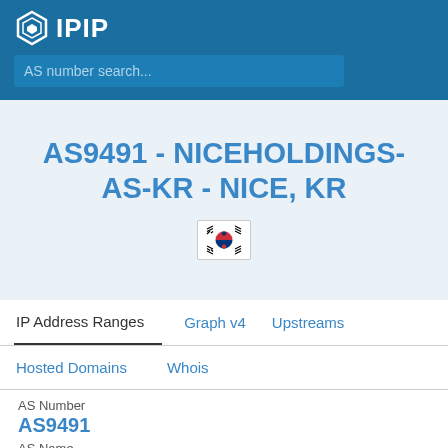IPIP
AS number search...
AS9491 - NICEHOLDINGS-AS-KR - NICE, KR
[Figure (illustration): South Korean flag emoji]
IP Address Ranges	Graph v4	Upstreams
Hosted Domains	Whois
AS Number
AS9491
AS Name
NICEHOLDINGS-AS-KR